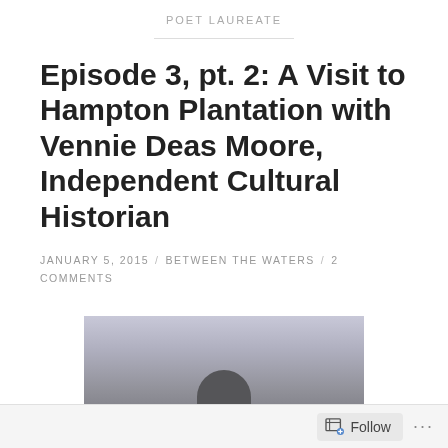POET LAUREATE
Episode 3, pt. 2: A Visit to Hampton Plantation with Vennie Deas Moore, Independent Cultural Historian
JANUARY 5, 2015 / BETWEEN THE WATERS / 2 COMMENTS
[Figure (photo): Partial photograph showing a person's head silhouetted against a grey sky background]
Follow ...